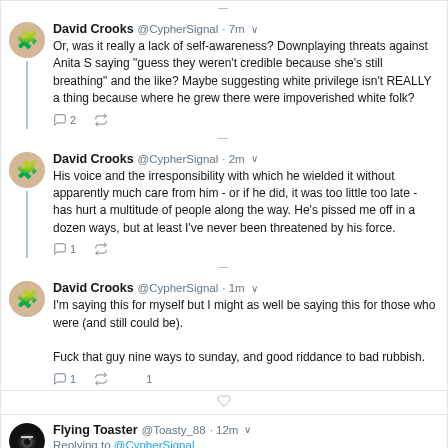David Crooks @CypherSignal · 7m — Or, was it really a lack of self-awareness? Downplaying threats against Anita S saying "guess they weren't credible because she's still breathing" and the like? Maybe suggesting white privilege isn't REALLY a thing because where he grew there were impoverished white folk?
David Crooks @CypherSignal · 2m — His voice and the irresponsibility with which he wielded it without apparently much care from him - or if he did, it was too little too late - has hurt a multitude of people along the way. He's pissed me off in a dozen ways, but at least I've never been threatened by his force.
David Crooks @CypherSignal · 1m — I'm saying this for myself but I might as well be saying this for those who were (and still could be). Fuck that guy nine ways to sunday, and good riddance to bad rubbish.
Flying Toaster @Toasty_88 · 12m — Replying to @CypherSignal — You're a horrible human being.